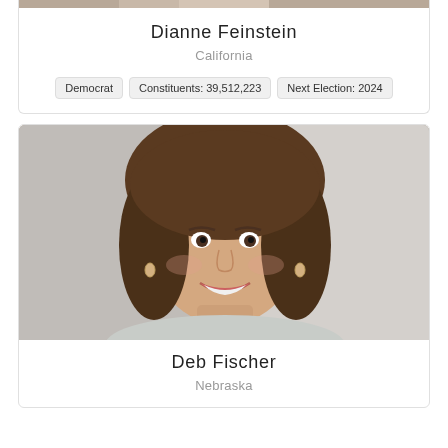[Figure (photo): Portrait photo of Dianne Feinstein (partially visible at top)]
Dianne Feinstein
California
Democrat | Constituents: 39,512,223 | Next Election: 2024
[Figure (photo): Portrait photo of Deb Fischer, a woman with brown shoulder-length hair, smiling]
Deb Fischer
Nebraska